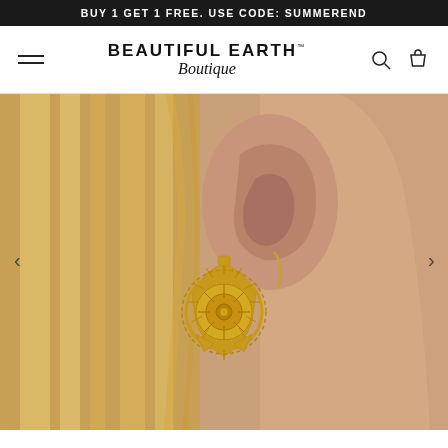BUY 1 GET 1 FREE. USE CODE: SUMMEREND
BEAUTIFUL EARTH™ Boutique
[Figure (photo): Close-up photo of a woman's ear wearing a gold mandala-style dangle earring with intricate floral filigree pattern, with blonde hair visible on the left side of the frame.]